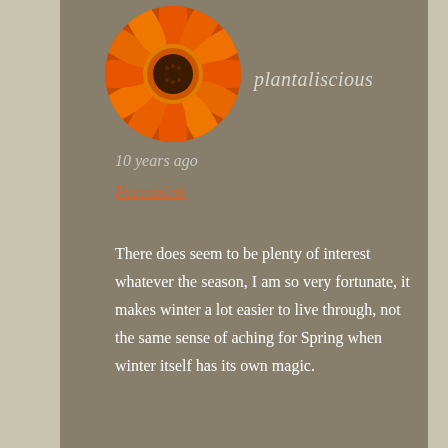[Figure (photo): Circular avatar photo of an orange flower (gerbera/sunflower type) with dark center, vibrant orange petals]
plantaliscious
10 years ago
Permalink
There does seem to be plenty of interest whatever the season, I am so very fortunate, it makes winter a lot easier to live through, not the same sense of aching for Spring when winter itself has its own magic.
[Figure (photo): Circular avatar photo of two people (Mark and Gaz) posing together indoors, smiling at the camera]
Mark and Gaz